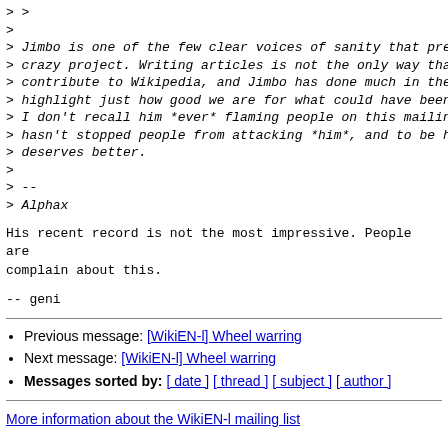> >
>
> Jimbo is one of the few clear voices of sanity that pre
> crazy project. Writing articles is not the only way tha
> contribute to Wikipedia, and Jimbo has done much in the
> highlight just how good we are for what could have been
> I don't recall him *ever* flaming people on this mailin
> hasn't stopped people from attacking *him*, and to be h
> deserves better.
>
> --
> Alphax
His recent record is not the most impressive. People are
complain about this.
--
geni
Previous message: [WikiEN-l] Wheel warring
Next message: [WikiEN-l] Wheel warring
Messages sorted by: [ date ] [ thread ] [ subject ] [ author ]
More information about the WikiEN-l mailing list